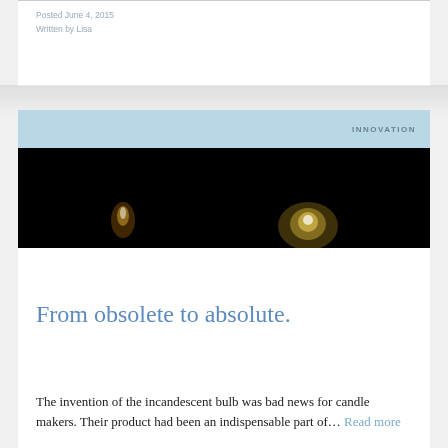Posted June 4, 2015
Written by Lisa
INNOVATION
[Figure (photo): Dark photograph showing a glowing incandescent light bulb and a candle flame against a black background]
From obsolete to absolute.
The invention of the incandescent bulb was bad news for candle makers. Their product had been an indispensable part of… Read more